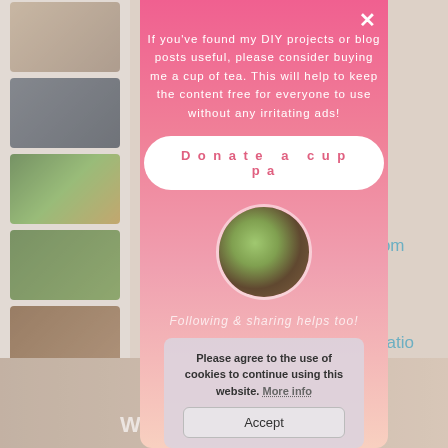[Figure (screenshot): Website screenshot showing a DIY/garden blog page with sidebar thumbnail images of outdoor furniture and garden projects, partially visible right-side link text in teal/blue, and a bottom image bar with white text.]
[Figure (screenshot): Pink gradient modal popup overlay on the blog page with a close X button, donation request text, a white rounded 'Donate a cuppa' button, a circular image of a cup of tea with biscuits, italic sharing text, and a cookie consent banner at the bottom.]
If you've found my DIY projects or blog posts useful, please consider buying me a cup of tea. This will help to keep the content free for everyone to use without any irritating ads!
Donate a cuppa
Following & sharing helps too!
Please agree to the use of cookies to continue using this website. More info
Accept